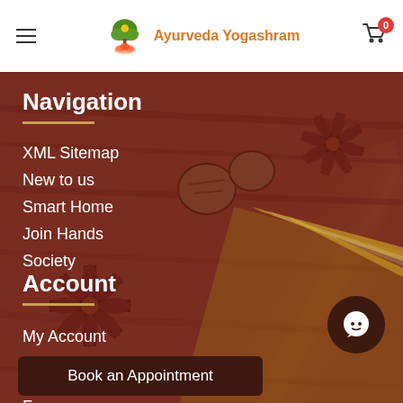[Figure (screenshot): Ayurveda Yogashram website header with logo, hamburger menu, and cart icon showing 0 items]
[Figure (photo): Background photo of spices including star anise, nutmeg, and cinnamon stick on a wooden surface with reddish-brown tones]
Navigation
XML Sitemap
New to us
Smart Home
Join Hands
Society
Account
My Account
Order History
Cart
Book an Appointment